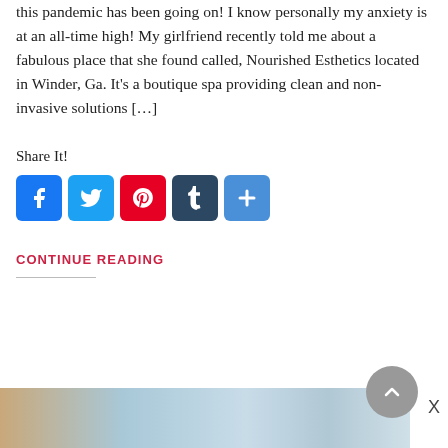this pandemic has been going on! I know personally my anxiety is at an all-time high! My girlfriend recently told me about a fabulous place that she found called, Nourished Esthetics located in Winder, Ga. It’s a boutique spa providing clean and non-invasive solutions […]
Share It!
[Figure (infographic): Social media share icons: Facebook (blue), Twitter (light blue), Pinterest (red), Tumblr (dark blue-gray), Share/Plus (blue)]
CONTINUE READING
[Figure (photo): Partial photo of what appears to be a spa interior with warm tan and light blue tones, partially visible at the bottom of the page]